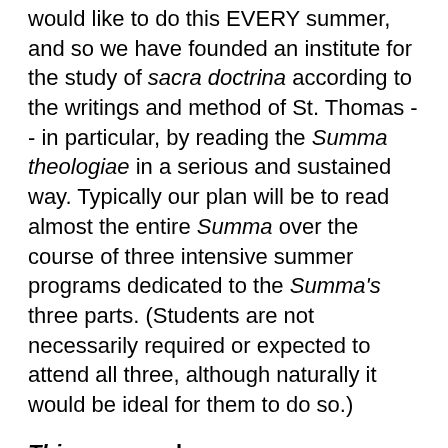would like to do this EVERY summer, and so we have founded an institute for the study of sacra doctrina according to the writings and method of St. Thomas -- in particular, by reading the Summa theologiae in a serious and sustained way. Typically our plan will be to read almost the entire Summa over the course of three intensive summer programs dedicated to the Summa's three parts. (Students are not necessarily required or expected to attend all three, although naturally it would be ideal for them to do so.)
This summer, however, we are making an exception to that plan by putting on a one-time program, in honor of the Year of Saint Paul, dedicated to reading all of St. Paul's Epistles with all of St. Thomas's commentaries on them. While it is possible that Aquinas's commentaries have been studied as a group this way in a monastery or other rarefied setting, certainly no college or university in living memory has offered such a program -- an